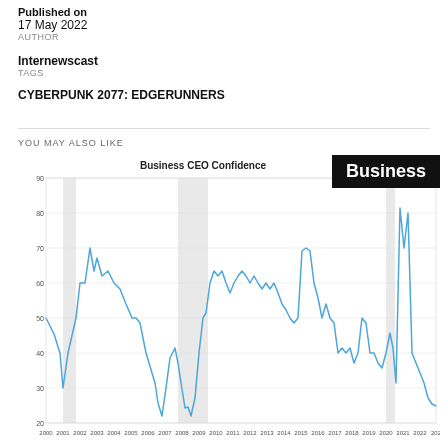Published on
17 May 2022
AUTHOR
Internewscast
TAGS
CYBERPUNK 2077: EDGERUNNERS
YOU MAY ALSO LIKE
[Figure (line-chart): Line chart showing Business CEO Confidence from 2000 to 2022, with shaded recession bands. Values fluctuate roughly between 25 and 83, with a major drop around 2008-2009, a peak around 2021, and a sharp decline in 2022.]